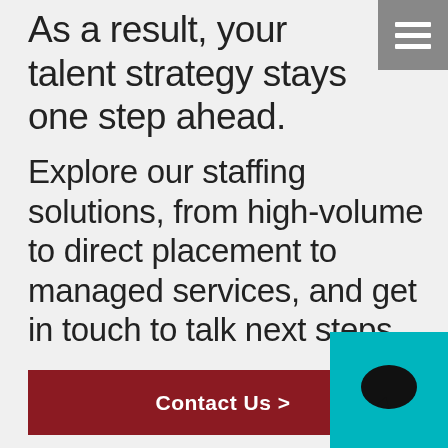As a result, your talent strategy stays one step ahead.
Explore our staffing solutions, from high-volume to direct placement to managed services, and get in touch to talk next steps.
Contact Us >
Temporary & High Volume >
We are using cookies to give you the best experience on our website. You can find out more about which cookies we are using or switch them off in settings.
Accept